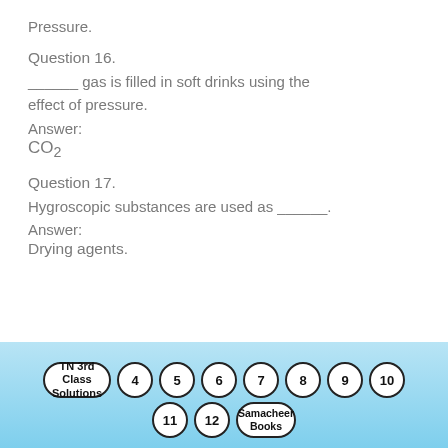Pressure.
Question 16.
______ gas is filled in soft drinks using the effect of pressure.
Answer:
CO₂
Question 17.
Hygroscopic substances are used as ______.
Answer:
Drying agents.
TN 3rd Class Solutions  4  5  6  7  8  9  10  11  12  Samacheer Books